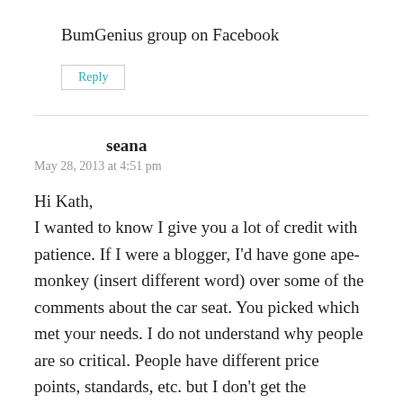BumGenius group on Facebook
Reply
seana
May 28, 2013 at 4:51 pm
Hi Kath,
I wanted to know I give you a lot of credit with patience. If I were a blogger, I'd have gone ape-monkey (insert different word) over some of the comments about the car seat. You picked which met your needs. I do not understand why people are so critical. People have different price points, standards, etc. but I don't get the